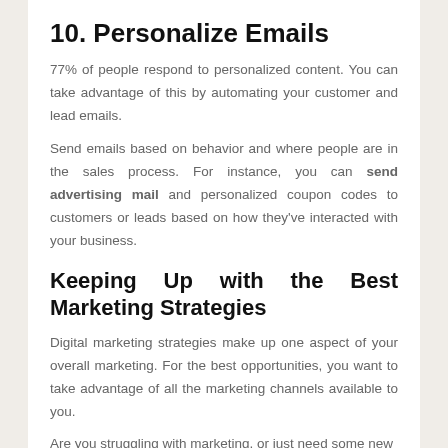10. Personalize Emails
77% of people respond to personalized content. You can take advantage of this by automating your customer and lead emails.
Send emails based on behavior and where people are in the sales process. For instance, you can send advertising mail and personalized coupon codes to customers or leads based on how they've interacted with your business.
Keeping Up with the Best Marketing Strategies
Digital marketing strategies make up one aspect of your overall marketing. For the best opportunities, you want to take advantage of all the marketing channels available to you.
Are you struggling with marketing, or just need some new